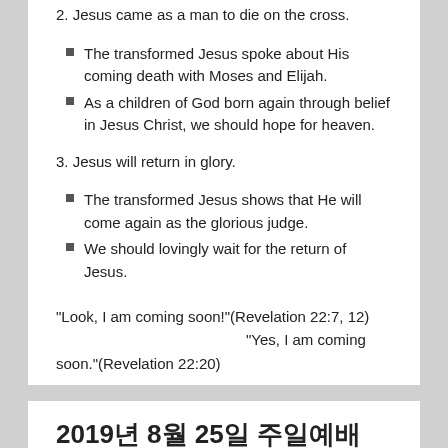2. Jesus came as a man to die on the cross.
The transformed Jesus spoke about His coming death with Moses and Elijah.
As a children of God born again through belief in Jesus Christ, we should hope for heaven.
3. Jesus will return in glory.
The transformed Jesus shows that He will come again as the glorious judge.
We should lovingly wait for the return of Jesus.
“Look, I am coming soon!”(Revelation 22:7, 12) “Yes, I am coming soon.”(Revelation 22:20)
2019년 8월 25일 주일예배
2019-08-25  GEELONGKBAPTIST